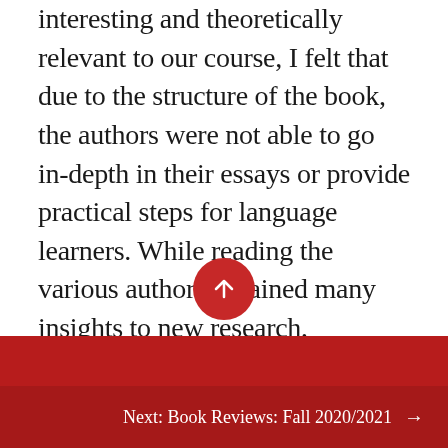Although I found this book to be incredibly interesting and theoretically relevant to our course, I felt that due to the structure of the book, the authors were not able to go in-depth in their essays or provide practical steps for language learners. While reading the various authors, I gained many insights to new research, frameworks, and ways to conceptualize ILL. The theories gained from this book can be applied in both learning and teaching settings, which I found valuable as a graduate student that often has to do both. As a teacher, I feel like I learned many new and exciting ways to structure a class to increase...
Next: Book Reviews: Fall 2020/2021 →